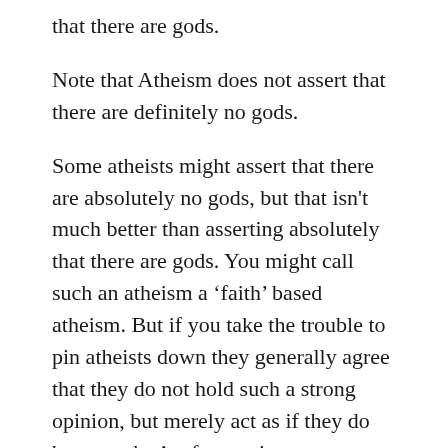that there are gods.
Note that Atheism does not assert that there are definitely no gods.
Some atheists might assert that there are absolutely no gods, but that isn't much better than asserting absolutely that there are gods. You might call such an atheism a 'faith' based atheism. But if you take the trouble to pin atheists down they generally agree that they do not hold such a strong opinion, but merely act as if they do because that's often easier to express.
But this acting as if there are no gods is a fair position to take. Christians act as if there are